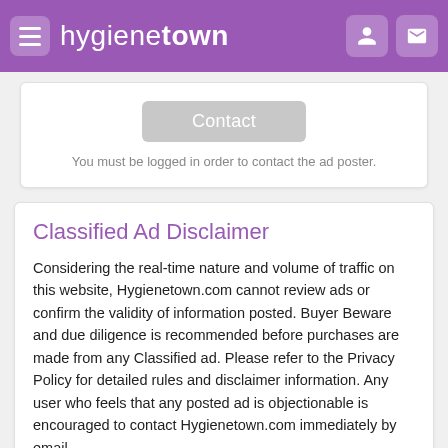hygienetown
Contact
You must be logged in order to contact the ad poster.
Classified Ad Disclaimer
Considering the real-time nature and volume of traffic on this website, Hygienetown.com cannot review ads or confirm the validity of information posted. Buyer Beware and due diligence is recommended before purchases are made from any Classified ad. Please refer to the Privacy Policy for detailed rules and disclaimer information. Any user who feels that any posted ad is objectionable is encouraged to contact Hygienetown.com immediately by email.
Parties posting ads are responsible for the accuracy and content of their classifieds advertisements.